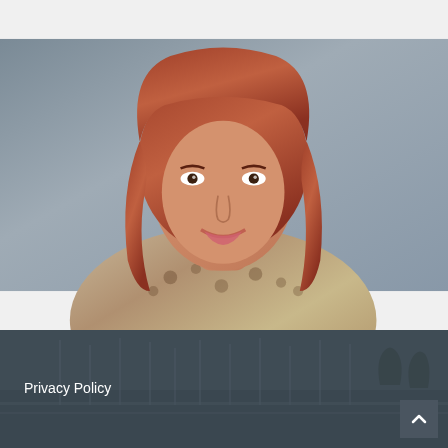[Figure (photo): Portrait photo of a woman with auburn/red hair wearing a leopard-print blouse, against a gray background, cropped at shoulders]
Pam Hargis
FocalPoint International
“Being an active participant in the Chamber is paramount to building strong relationships and getting quality referrals..”
[Figure (photo): Background photo of a marina/harbor with sailboats and palm trees, shown in dark gray overlay in the footer area]
Privacy Policy